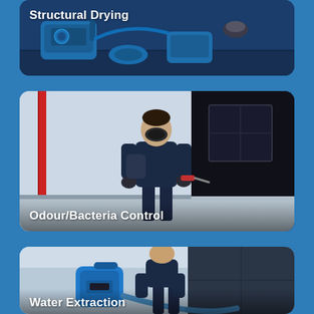[Figure (photo): Card showing blue industrial drying equipment on floor against a wall, dark blue tones]
Structural Drying
[Figure (photo): Card showing a worker in dark uniform and respirator mask spraying inside a room, with red pipe on left and dark TV on right wall]
Odour/Bacteria Control
[Figure (photo): Card showing a worker operating a large blue water extraction machine on a floor, dark cabinets in background]
Water Extraction